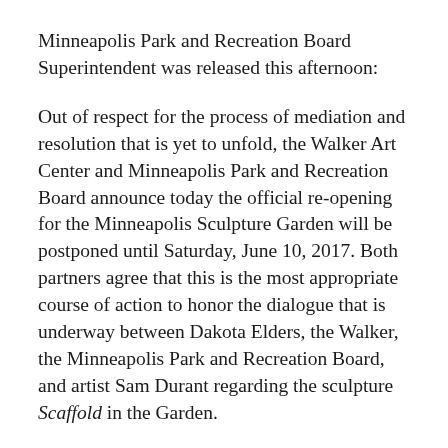Minneapolis Park and Recreation Board Superintendent was released this afternoon:
Out of respect for the process of mediation and resolution that is yet to unfold, the Walker Art Center and Minneapolis Park and Recreation Board announce today the official re-opening for the Minneapolis Sculpture Garden will be postponed until Saturday, June 10, 2017. Both partners agree that this is the most appropriate course of action to honor the dialogue that is underway between Dakota Elders, the Walker, the Minneapolis Park and Recreation Board, and artist Sam Durant regarding the sculpture Scaffold in the Garden.
A private mediation with a group of Dakota